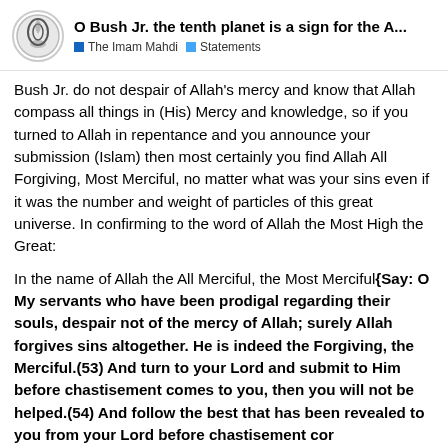O Bush Jr. the tenth planet is a sign for the A... | The Imam Mahdi | Statements
Bush Jr. do not despair of Allah's mercy and know that Allah compass all things in (His) Mercy and knowledge, so if you turned to Allah in repentance and you announce your submission (Islam) then most certainly you find Allah All Forgiving, Most Merciful, no matter what was your sins even if it was the number and weight of particles of this great universe. In confirming to the word of Allah the Most High the Great:
In the name of Allah the All Merciful, the Most Merciful{Say: O My servants who have been prodigal regarding their souls, despair not of the mercy of Allah; surely Allah forgives sins altogether. He is indeed the Forgiving, the Merciful.(53) And turn to your Lord and submit to Him before chastisement comes to you, then you will not be helped.(54) And follow the best that has been revealed to you from your Lord before chastisement comes to you all of a sudden, while you perceive not,(55)